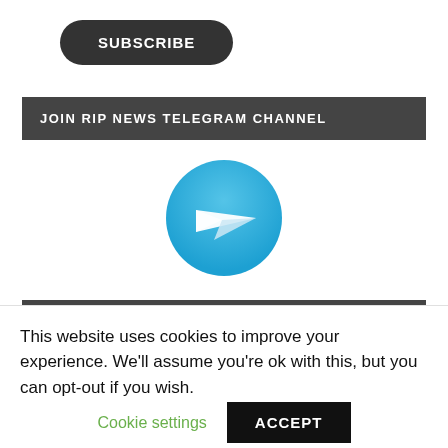[Figure (other): Dark rounded rectangle button with bold white uppercase text 'SUBSCRIBE']
JOIN RIP NEWS TELEGRAM CHANNEL
[Figure (logo): Telegram app logo: blue circle with white paper airplane icon]
SUPPORT THIS SITE
This website uses cookies to improve your experience. We'll assume you're ok with this, but you can opt-out if you wish.
Cookie settings  ACCEPT